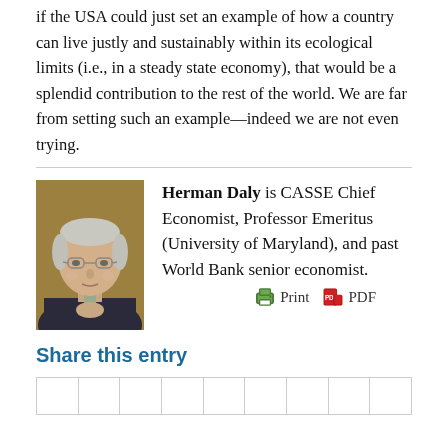if the USA could just set an example of how a country can live justly and sustainably within its ecological limits (i.e., in a steady state economy), that would be a splendid contribution to the rest of the world. We are far from setting such an example—indeed we are not even trying.
[Figure (photo): Portrait photo of Herman Daly, an elderly man with gray hair wearing glasses and a dark suit with a tie.]
Herman Daly is CASSE Chief Economist, Professor Emeritus (University of Maryland), and past World Bank senior economist.
Share this entry